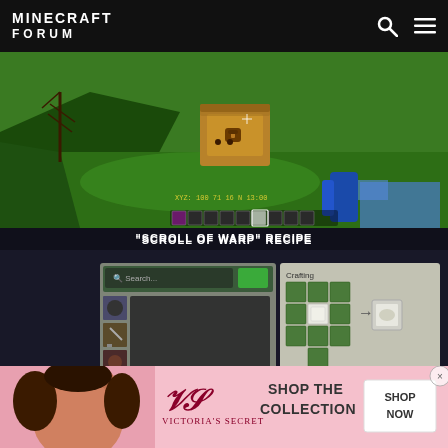MINECRAFT FORUM
[Figure (screenshot): Minecraft game screenshot showing grass terrain with a wooden chest block and player HUD with hotbar at the bottom. XYZ coordinates shown: 100 71 16]
"SCROLL OF WARP" RECIPE
[Figure (screenshot): Minecraft crafting interface showing the Scroll of Warp recipe. Crafting grid with green wool/items arranged with white paper in center producing a scroll item. Inventory panel below.]
[Figure (photo): Victoria's Secret advertisement banner featuring a woman with curly hair and text: SHOP THE COLLECTION SHOP NOW with Victoria's Secret logo]